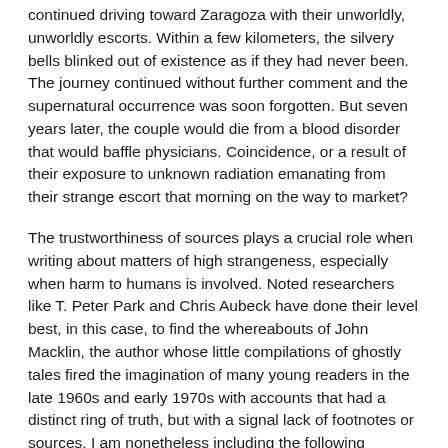continued driving toward Zaragoza with their unworldly, unworldly escorts. Within a few kilometers, the silvery bells blinked out of existence as if they had never been. The journey continued without further comment and the supernatural occurrence was soon forgotten. But seven years later, the couple would die from a blood disorder that would baffle physicians. Coincidence, or a result of their exposure to unknown radiation emanating from their strange escort that morning on the way to market?
The trustworthiness of sources plays a crucial role when writing about matters of high strangeness, especially when harm to humans is involved. Noted researchers like T. Peter Park and Chris Aubeck have done their level best, in this case, to find the whereabouts of John Macklin, the author whose little compilations of ghostly tales fired the imagination of many young readers in the late 1960s and early 1970s with accounts that had a distinct ring of truth, but with a signal lack of footnotes or sources. I am nonetheless including the following account – taken from Mr. Macklin's A Look Through Secret Doors (Ace Books, 1969) as an example of the mysterious situations that often involve unlucky experiencers and law enforcement.